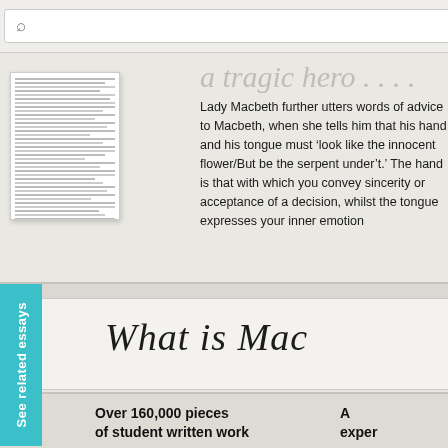[Figure (screenshot): Search bar UI with magnifying glass icon and Search button]
'Macbeth' gives us a classic
a tragic hero ....
[Figure (photo): Thumbnail image of a student essay document]
Lady Macbeth further utters words of advice to Macbeth, when she tells him that his hand and his tongue must 'look like the innocent flower/But be the serpent under't.' The hand is that with which you convey sincerity or acceptance of a decision, whilst the tongue expresses your inner emotion
[Figure (screenshot): See related essays vertical side tab in teal]
What is Mac
Over 160,000 pieces of student written work
A expe